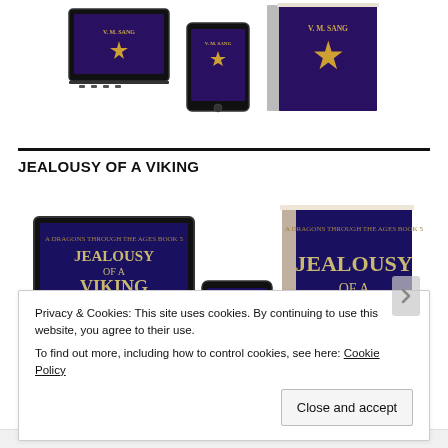[Figure (photo): Book mock-ups showing covers of a fantasy novel by V. M. Sang on tablet, phone, and physical book]
JEALOUSY OF A VIKING
[Figure (photo): Book mock-ups for 'Jealousy of a Viking' shown on tablet, phone, and physical book with blue fantasy cover]
Privacy & Cookies: This site uses cookies. By continuing to use this website, you agree to their use.
To find out more, including how to control cookies, see here: Cookie Policy
Close and accept